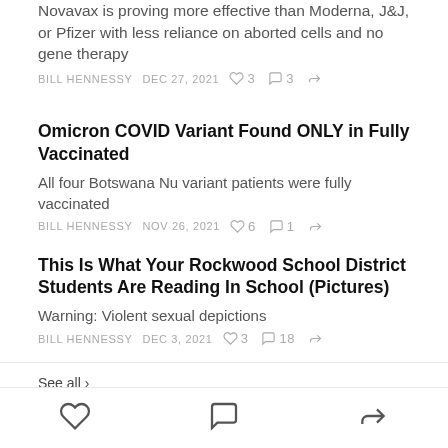Novavax is proving more effective than Moderna, J&J, or Pfizer with less reliance on aborted cells and no gene therapy
BILL HENNESSY   DEC 27, 2021   ♡ 3   ○ 3   ➦
Omicron COVID Variant Found ONLY in Fully Vaccinated
All four Botswana Nu variant patients were fully vaccinated
BILL HENNESSY   NOV 26, 2021   ♡ 6   ○ 1   ➦
This Is What Your Rockwood School District Students Are Reading In School (Pictures)
Warning: Violent sexual depictions
BILL HENNESSY   DEC 3, 2021   ♡ 3   ○ 18   ➦
See all ›